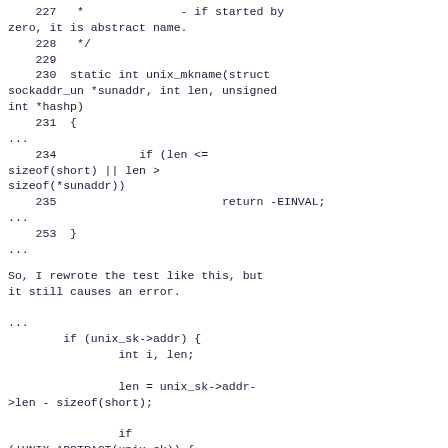227   *              - if started by zero, it is abstract name.
228   */
229
230  static int unix_mkname(struct sockaddr_un *sunaddr, int len, unsigned int *hashp)
231  {
...
234            if (len <=
sizeof(short) || len >
sizeof(*sunaddr))
235                        return -EINVAL;
...
253  }
...
So, I rewrote the test like this, but it still causes an error.
...
        if (unix_sk->addr) {
                int i, len;

                len = unix_sk->addr->len - sizeof(short);

                if
(!UNIX_ABSTRACT(unix_sk)) {